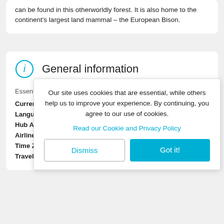can be found in this otherworldly forest. It is also home to the continent's largest land mammal – the European Bison.
General information
Essential d...
Currency
Language
Hub Airpo...
Airline
Time Zone
Travel Ad...
Our site uses cookies that are essential, while others help us to improve your experience. By continuing, you agree to our use of cookies.
Read our Cookie and Privacy Policy
Dismiss
Got it!